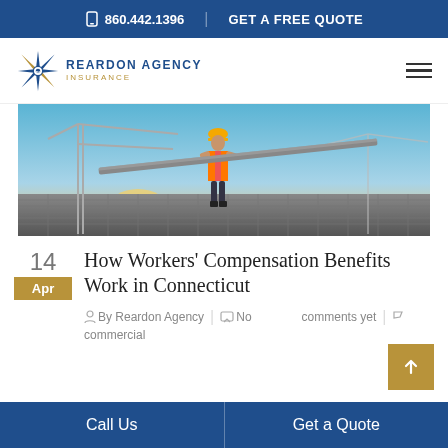860.442.1396   GET A FREE QUOTE
[Figure (logo): Reardon Agency Insurance logo with compass star and text]
[Figure (photo): Construction worker carrying a long steel beam on a jobsite at sunset, with cranes in the background]
14
Apr
How Workers' Compensation Benefits Work in Connecticut
By Reardon Agency | No comments yet | commercial
Call Us   Get a Quote